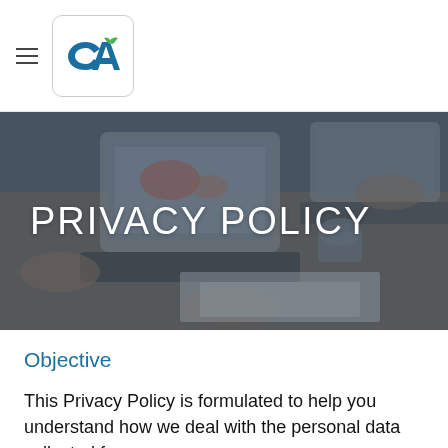CA logo and hamburger menu
[Figure (photo): Dark-tinted overhead photo of people at a meeting table with laptops, documents, and a coffee cup]
PRIVACY POLICY
Objective
This Privacy Policy is formulated to help you understand how we deal with the personal data collected from our